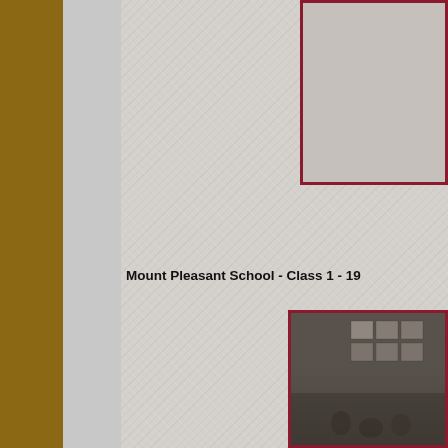[Figure (photo): Partial view of a photo at top right with a dark red/crimson border, showing a light-colored background — appears to be a school photo, partially cropped]
Mount Pleasant School - Class 1 - 19
[Figure (photo): A black and white or sepia classroom photo at bottom right with a dark red/crimson border, showing students and wall displays/bulletin boards in a classroom setting]